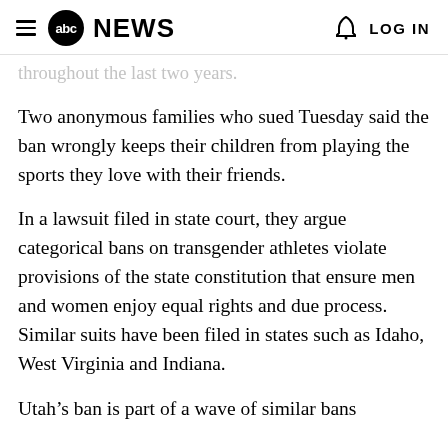abc NEWS  LOG IN
throughout the last two years.
Two anonymous families who sued Tuesday said the ban wrongly keeps their children from playing the sports they love with their friends.
In a lawsuit filed in state court, they argue categorical bans on transgender athletes violate provisions of the state constitution that ensure men and women enjoy equal rights and due process. Similar suits have been filed in states such as Idaho, West Virginia and Indiana.
Utah’s ban is part of a wave of similar bans